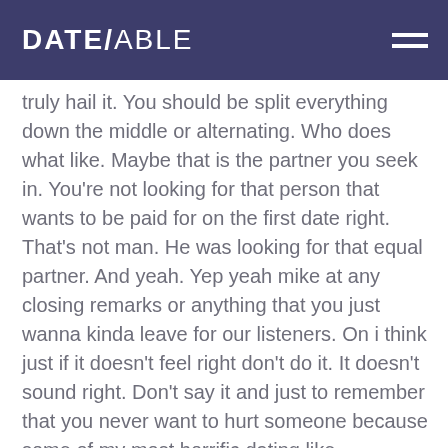DATE/ABLE
truly hail it. You should be split everything down the middle or alternating. Who does what like. Maybe that is the partner you seek in. You're not looking for that person that wants to be paid for on the first date right. That's not man. He was looking for that equal partner. And yeah. Yep yeah mike at any closing remarks or anything that you just wanna kinda leave for our listeners. On i think just if it doesn't feel right don't do it. It doesn't sound right. Don't say it and just to remember that you never want to hurt someone because some of my most horrific dating like adventures. That i can remember. Stories is because i felt hurt and like even now i'm that's long about was a long time ago. I still remember it so that you know you can still. You can